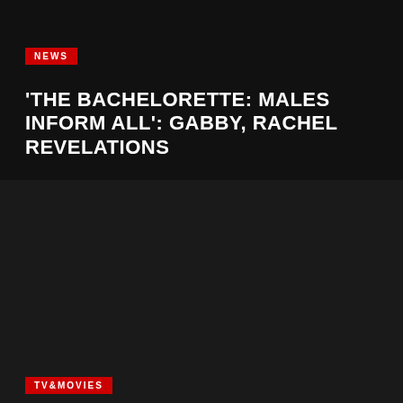NEWS
'THE BACHELORETTE: MALES INFORM ALL': GABBY, RACHEL REVELATIONS
TV&MOVIES
'THE SOPRANOS' ACTOR ROBERT LUPONE DIES AT 76